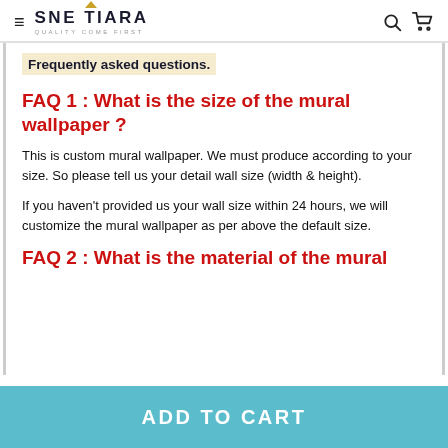SNETIARA — QUALITY COME FIRST
Frequently asked questions.
FAQ 1 : What is the size of the mural wallpaper ?
This is custom mural wallpaper. We must produce according to your size. So please tell us your detail wall size (width & height).
If you haven't provided us your wall size within 24 hours, we will customize the mural wallpaper as per above the default size.
FAQ 2 : What is the material of the mural
ADD TO CART